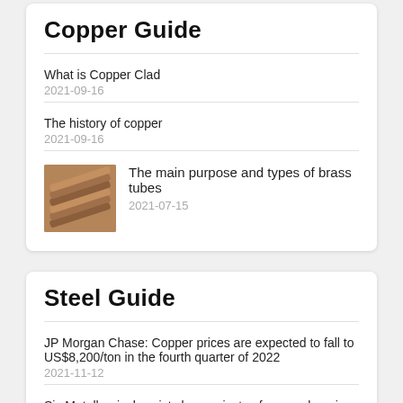Copper Guide
What is Copper Clad
2021-09-16
The history of copper
2021-09-16
The main purpose and types of brass tubes
2021-07-15
Steel Guide
JP Morgan Chase: Copper prices are expected to fall to US$8,200/ton in the fourth quarter of 2022
2021-11-12
Six Metallurgical assists key projects of comprehensive management of Chang'an Street
2021-11-11